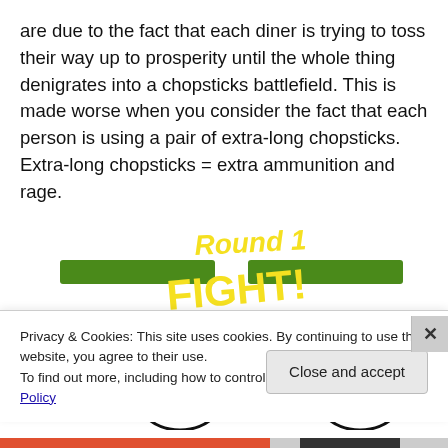are due to the fact that each diner is trying to toss their way up to prosperity until the whole thing denigrates into a chopsticks battlefield. This is made worse when you consider the fact that each person is using a pair of extra-long chopsticks. Extra-long chopsticks = extra ammunition and rage.
[Figure (illustration): Hand-drawn cartoon illustration showing two round-faced characters on either side with green health bars above them, and yellow hand-written text in the middle reading 'Round 1 FIGHT!' in a fighting-game style.]
Privacy & Cookies: This site uses cookies. By continuing to use this website, you agree to their use.
To find out more, including how to control cookies, see here: Cookie Policy